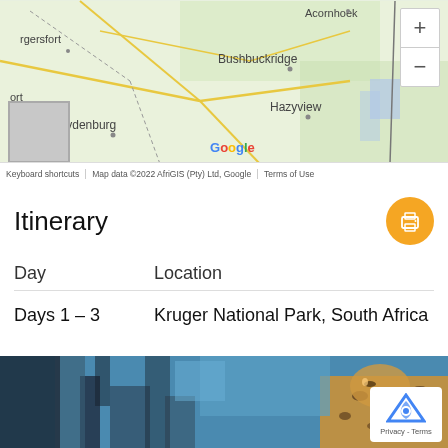[Figure (map): Google Maps view showing South Africa region with Bushbuckridge, Hazyview, Acornhoek, Lydenburg labels, zoom controls, map thumbnail, and Google attribution bar]
Itinerary
| Day | Location |
| --- | --- |
| Days 1 – 3 | Kruger National Park, South Africa |
[Figure (photo): Partial photo of a leopard in a tree with blue sky background, with reCAPTCHA privacy badge overlay]